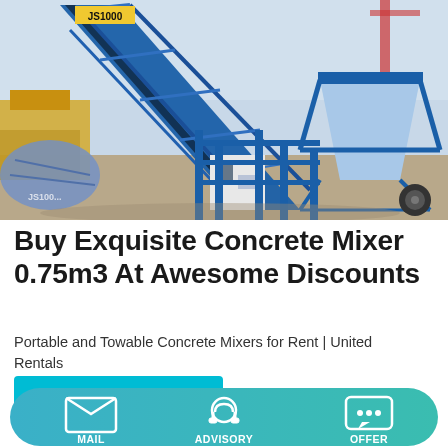[Figure (photo): Industrial concrete mixer plant with blue steel framework (JS1000 label visible), conveyor belt, yellow machinery, and crane in background at outdoor site]
Buy Exquisite Concrete Mixer 0.75m3 At Awesome Discounts
Portable and Towable Concrete Mixers for Rent | United Rentals
[Figure (other): Cyan 'Learn More' button]
MAIL   ADVISORY   OFFER